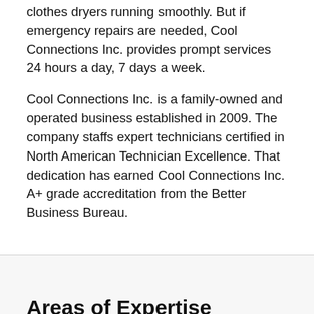clothes dryers running smoothly. But if emergency repairs are needed, Cool Connections Inc. provides prompt services 24 hours a day, 7 days a week.
Cool Connections Inc. is a family-owned and operated business established in 2009. The company staffs expert technicians certified in North American Technician Excellence. That dedication has earned Cool Connections Inc. A+ grade accreditation from the Better Business Bureau.
Areas of Expertise